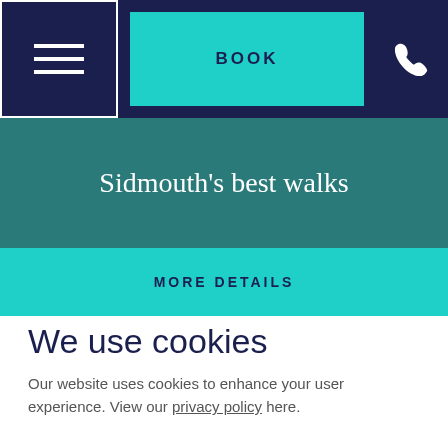[Figure (screenshot): Navigation bar with hamburger menu icon, BOOK button in teal, and phone icon on dark navy background]
Sidmouth's best walks
MORE DETAILS
We use cookies
Our website uses cookies to enhance your user experience. View our privacy policy here.
ACCEPT COOKIES
MANAGE COOKIES